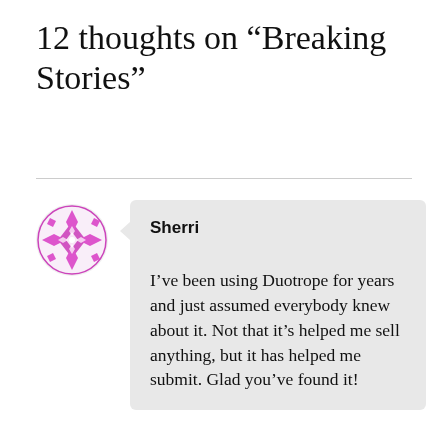12 thoughts on “Breaking Stories”
Sherri
I’ve been using Duotrope for years and just assumed everybody knew about it. Not that it’s helped me sell anything, but it has helped me submit. Glad you’ve found it!